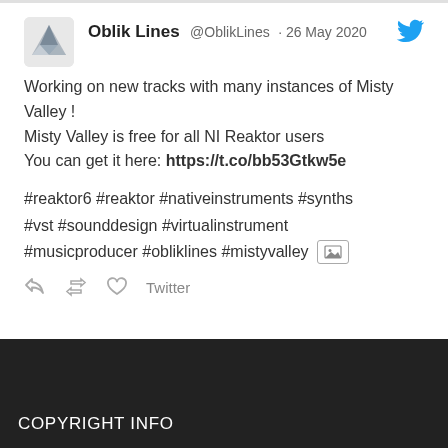[Figure (screenshot): Twitter/social media post by Oblik Lines (@OblikLines) dated 26 May 2020, with avatar, tweet text about Misty Valley, hashtags, action icons, and Load More button.]
Oblik Lines @OblikLines · 26 May 2020
Working on new tracks with many instances of Misty Valley !
Misty Valley is free for all NI Reaktor users
You can get it here: https://t.co/bb53Gtkw5e

#reaktor6 #reaktor #nativeinstruments #synths #vst #sounddesign #virtualinstrument #musicproducer #obliklines #mistyvalley
Load More...
COPYRIGHT INFO